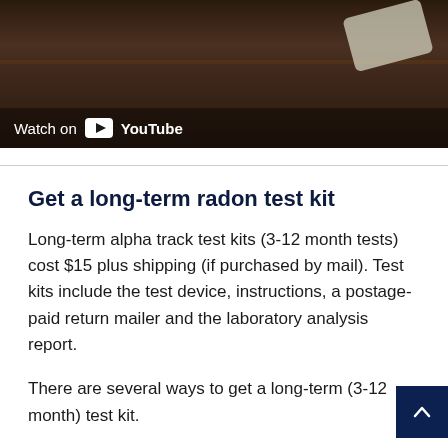[Figure (screenshot): YouTube video thumbnail showing a dark wood-toned background with a remote control object visible. A 'Watch on YouTube' overlay bar is at the bottom of the thumbnail.]
Get a long-term radon test kit
Long-term alpha track test kits (3-12 month tests) cost $15 plus shipping (if purchased by mail). Test kits include the test device, instructions, a postage-paid return mailer and the laboratory analysis report.
There are several ways to get a long-term (3-12 month) test kit.